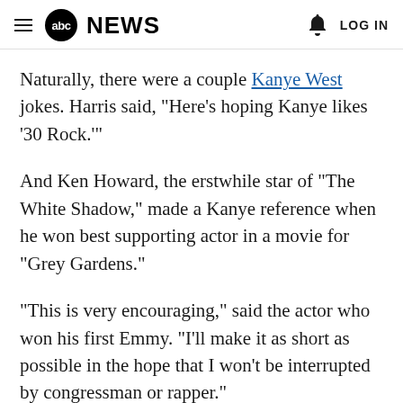abc NEWS   LOG IN
Naturally, there were a couple Kanye West jokes. Harris said, "Here's hoping Kanye likes '30 Rock.'"
And Ken Howard, the erstwhile star of "The White Shadow," made a Kanye reference when he won best supporting actor in a movie for "Grey Gardens."
"This is very encouraging," said the actor who won his first Emmy. "I'll make it as short as possible in the hope that I won't be interrupted by congressman or rapper."